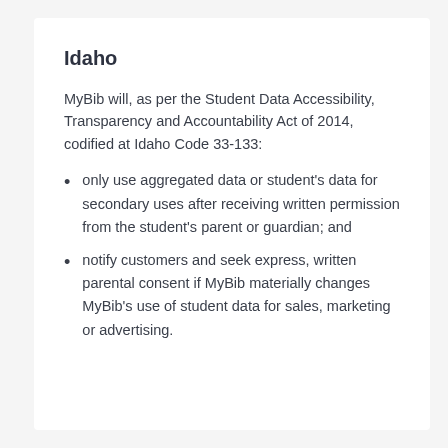Idaho
MyBib will, as per the Student Data Accessibility, Transparency and Accountability Act of 2014, codified at Idaho Code 33-133:
only use aggregated data or student's data for secondary uses after receiving written permission from the student's parent or guardian; and
notify customers and seek express, written parental consent if MyBib materially changes MyBib's use of student data for sales, marketing or advertising.